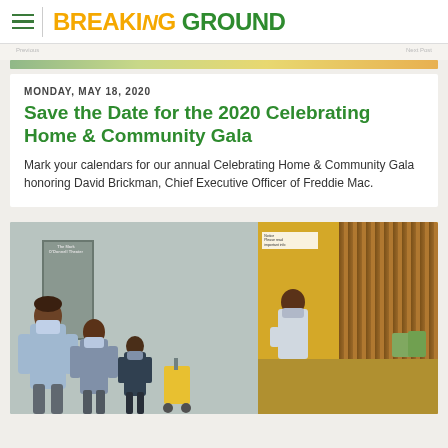BREAKING GROUND
MONDAY, MAY 18, 2020
Save the Date for the 2020 Celebrating Home & Community Gala
Mark your calendars for our annual Celebrating Home & Community Gala honoring David Brickman, Chief Executive Officer of Freddie Mac.
[Figure (photo): Photo of people wearing face masks inside a building lobby, with a door visible on the left and a wood-paneled wall and desk area on the right.]